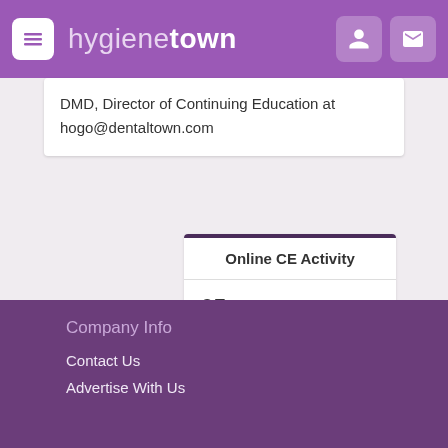hygienetown
DMD, Director of Continuing Education at hogo@dentaltown.com
| Online CE Activity |
| --- |
| 65 | CE Courses Online |
| 7,540 | Total CE Course Views |
Company Info
Contact Us
Advertise With Us